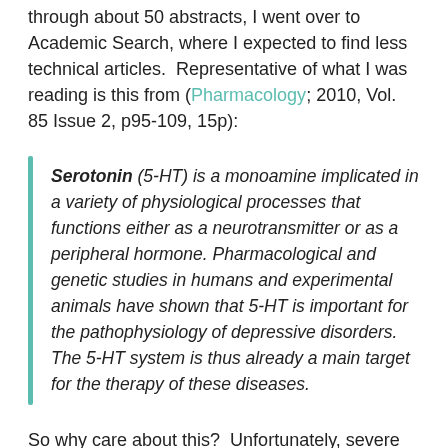through about 50 abstracts, I went over to Academic Search, where I expected to find less technical articles.  Representative of what I was reading is this from (Pharmacology; 2010, Vol. 85 Issue 2, p95-109, 15p):
Serotonin (5-HT) is a monoamine implicated in a variety of physiological processes that functions either as a neurotransmitter or as a peripheral hormone. Pharmacological and genetic studies in humans and experimental animals have shown that 5-HT is important for the pathophysiology of depressive disorders. The 5-HT system is thus already a main target for the therapy of these diseases.
So why care about this?  Unfortunately, severe depression, panic disorder and social anxiety...